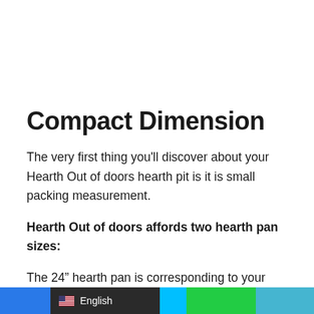Compact Dimension
The very first thing you'll discover about your Hearth Out of doors hearth pit is it is small packing measurement.
Hearth Out of doors affords two hearth pan sizes:
The 24" hearth pan is corresponding to your conventional metal hearth pan, nonetheless, when damaged down, it is roughly the scale of a folding camp chair.
English